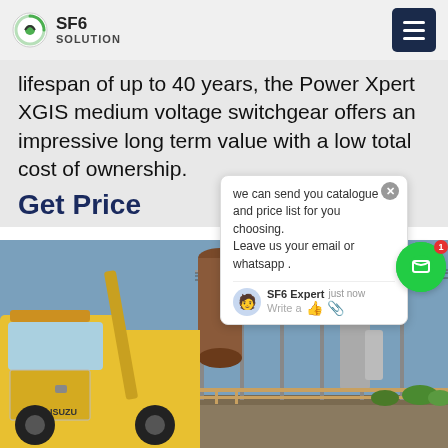SF6 SOLUTION
lifespan of up to 40 years, the Power Xpert XGIS medium voltage switchgear offers an impressive long term value with a low total cost of ownership.
Get Price
we can send you catalogue and price list for you choosing. Leave us your email or whatsapp .
SF6 Expert   just now
Write a
[Figure (photo): A yellow ISUZU service truck parked at an electrical substation with high-voltage equipment, transformers and power lines in the background.]